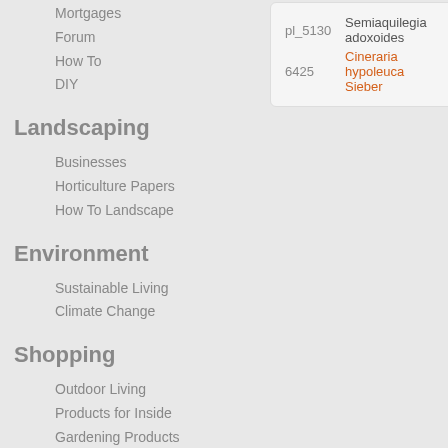Mortgages
Forum
How To
DIY
Landscaping
Businesses
Horticulture Papers
How To Landscape
Environment
Sustainable Living
Climate Change
Shopping
Outdoor Living
Products for Inside
Gardening Products
Home and Garden
Magazines
Flower Delivery
Farming
| ID | Name |
| --- | --- |
| pl_5130 | Semiaquilegia adoxoides |
| 6425 | Cineraria hypoleuca Sieber |
Can't find
Search again, try our gardening r